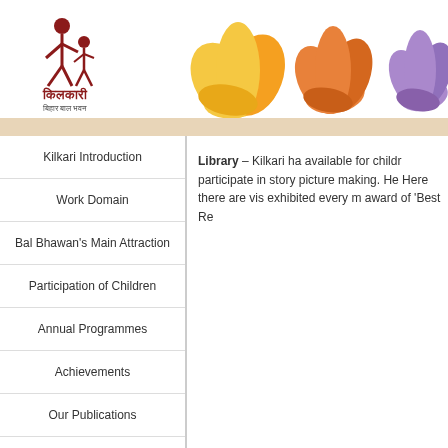[Figure (logo): Kilkari Bihar Bal Bhawan logo with Hindi text and two figures]
[Figure (illustration): Decorative lotus flower illustrations in yellow/orange and purple]
Kilkari Introduction
Work Domain
Bal Bhawan's Main Attraction
Participation of Children
Annual Programmes
Achievements
Our Publications
Registration and Activities
Library – Kilkari ha available for childr participate in story picture making. He Here there are vis exhibited every m award of 'Best Re